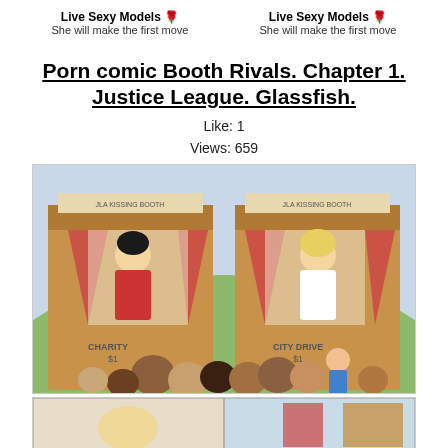Live Sexy Models 🌹 She will make the first move | Live Sexy Models 🌹 She will make the first move
Porn comic Booth Rivals. Chapter 1. Justice League. Glassfish.
Like: 1
Views: 659
[Figure (illustration): Comic panel showing two kissing booths labeled 'JLA KISSING BOOTH' with costumed female characters inside and a crowd of people in front. Left booth says 'CHARITY $1', right booth says 'CITY DRIVE $1'.]
[Figure (illustration): Bottom strip of comic panels showing additional scenes from the same comic.]